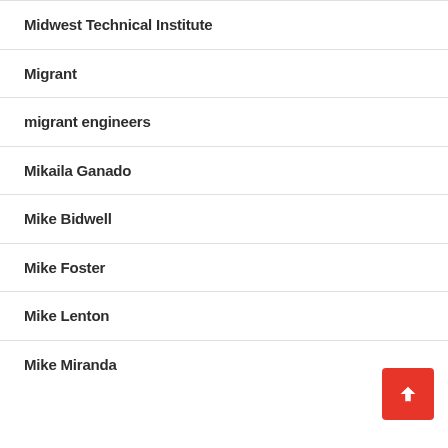Midwest Technical Institute
Migrant
migrant engineers
Mikaila Ganado
Mike Bidwell
Mike Foster
Mike Lenton
Mike Miranda